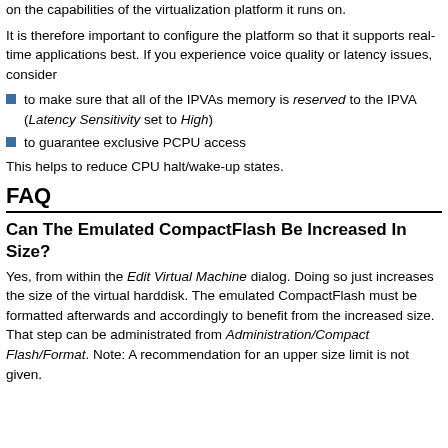on the capabilities of the virtualization platform it runs on.
It is therefore important to configure the platform so that it supports real-time applications best. If you experience voice quality or latency issues, consider
to make sure that all of the IPVAs memory is reserved to the IPVA (Latency Sensitivity set to High)
to guarantee exclusive PCPU access
This helps to reduce CPU halt/wake-up states.
FAQ
Can The Emulated CompactFlash Be Increased In Size?
Yes, from within the Edit Virtual Machine dialog. Doing so just increases the size of the virtual harddisk. The emulated CompactFlash must be formatted afterwards and accordingly to benefit from the increased size. That step can be administrated from Administration/Compact Flash/Format. Note: A recommendation for an upper size limit is not given.